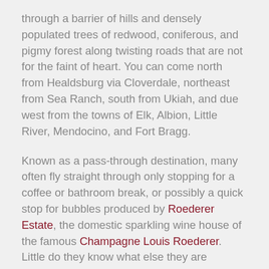through a barrier of hills and densely populated trees of redwood, coniferous, and pigmy forest along twisting roads that are not for the faint of heart. You can come north from Healdsburg via Cloverdale, northeast from Sea Ranch, south from Ukiah, and due west from the towns of Elk, Albion, Little River, Mendocino, and Fort Bragg.
Known as a pass-through destination, many often fly straight through only stopping for a coffee or bathroom break, or possibly a quick stop for bubbles produced by Roederer Estate, the domestic sparkling wine house of the famous Champagne Louis Roederer. Little do they know what else they are missing as they venture west, destination the coast.